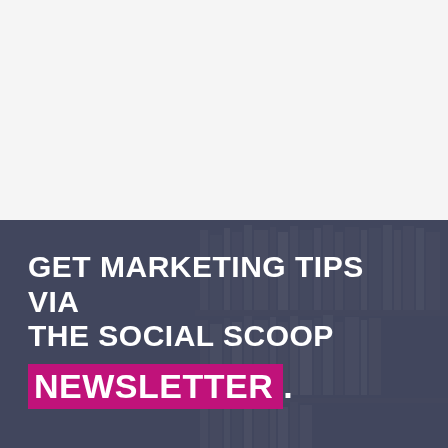[Figure (illustration): White/light gray background top half of page, representing blank space above a promotional banner]
[Figure (photo): Dark blue-gray tinted background with a bookshelf filled with books visible, with a semi-transparent overlay, used as background for promotional newsletter text]
GET MARKETING TIPS VIA THE SOCIAL SCOOP NEWSLETTER.